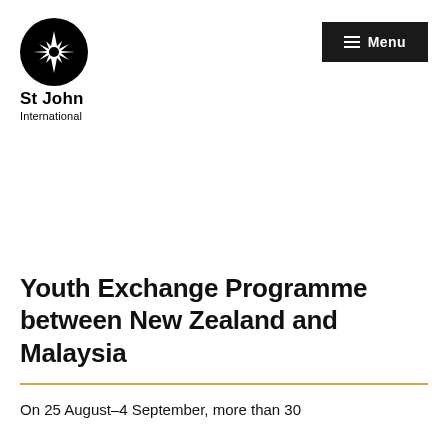St John International — Menu
Youth Exchange Programme between New Zealand and Malaysia
On 25 August–4 September, more than 30